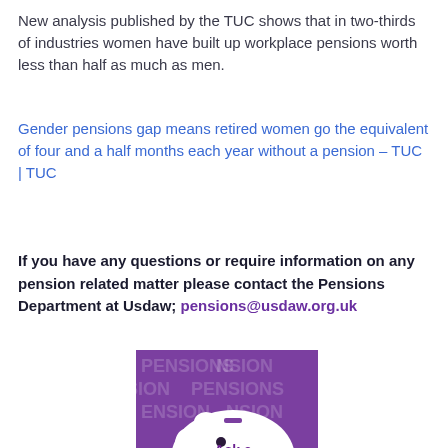New analysis published by the TUC shows that in two-thirds of industries women have built up workplace pensions worth less than half as much as men.
Gender pensions gap means retired women go the equivalent of four and a half months each year without a pension – TUC | TUC
If you have any questions or require information on any pension related matter please contact the Pensions Department at Usdaw; pensions@usdaw.org.uk
[Figure (illustration): Purple background image with repeated 'PENSIONS' text watermark and a white piggy bank illustration in the center with bold purple text reading 'Ask a Question']